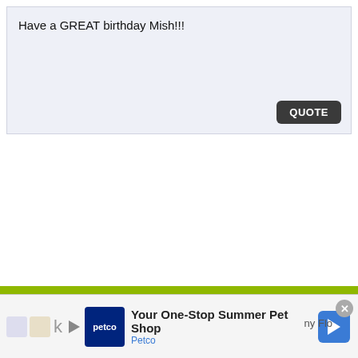Have a GREAT birthday Mish!!!
02-24-2006, 08:11 AM  #12
Join Date: Jan 2006
[Figure (screenshot): Advertisement banner for Petco - Your One-Stop Summer Pet Shop with Petco logo and navigation arrow icon, and a close button]